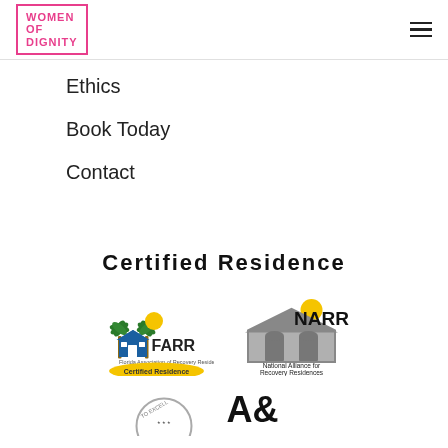[Figure (logo): Women of Dignity logo in pink border]
Ethics
Book Today
Contact
Certified Residence
[Figure (logo): FARR - Florida Association of Recovery Residences Certified Residence badge]
[Figure (logo): NARR - National Alliance for Recovery Residences logo]